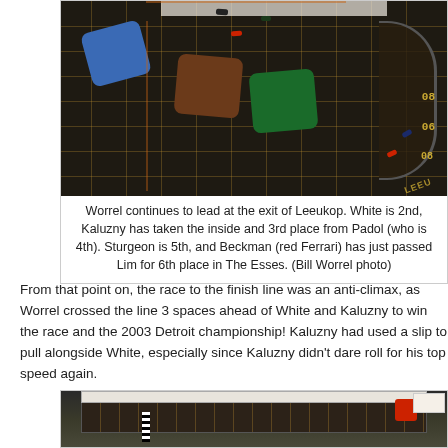[Figure (photo): Overhead photo of a board game race track (Formula De/Racing game) with dice trays (blue, brown-red, green) placed on a dark curved track section. Miniature race cars are positioned around the track. The track has grid markings and speed zone numbers visible.]
Worrel continues to lead at the exit of Leeukop. White is 2nd, Kaluzny has taken the inside and 3rd place from Padol (who is 4th). Sturgeon is 5th, and Beckman (red Ferrari) has just passed Lim for 6th place in The Esses. (Bill Worrel photo)
From that point on, the race to the finish line was an anti-climax, as Worrel crossed the line 3 spaces ahead of White and Kaluzny to win the race and the 2003 Detroit championship! Kaluzny had used a slip to pull alongside White, especially since Kaluzny didn't dare roll for his top speed again.
[Figure (photo): Bottom portion of a board game race track showing a straight section with finish line markings and a red die visible on the right side.]